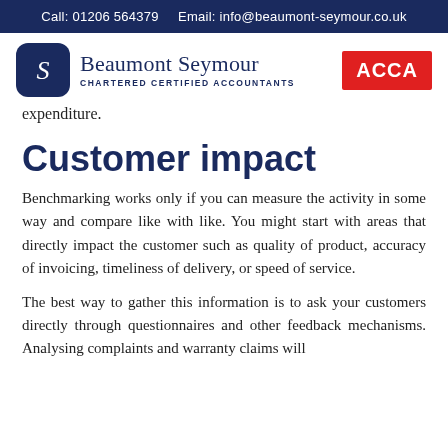Call: 01206 564379   Email: info@beaumont-seymour.co.uk
[Figure (logo): Beaumont Seymour Chartered Certified Accountants logo with dark blue rounded square icon and company name]
[Figure (logo): ACCA red badge logo]
expenditure.
Customer impact
Benchmarking works only if you can measure the activity in some way and compare like with like. You might start with areas that directly impact the customer such as quality of product, accuracy of invoicing, timeliness of delivery, or speed of service.
The best way to gather this information is to ask your customers directly through questionnaires and other feedback mechanisms. Analysing complaints and warranty claims will